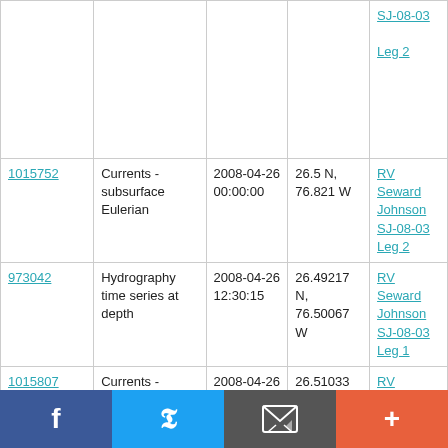| ID | Type | Date/Time | Location | Cruise |
| --- | --- | --- | --- | --- |
|  |  |  |  | SJ-08-03
Leg 2 |
| 1015752 | Currents - subsurface Eulerian | 2008-04-26 00:00:00 | 26.5 N, 76.821 W | RV Seward Johnson SJ-08-03 Leg 2 |
| 973042 | Hydrography time series at depth | 2008-04-26 12:30:15 | 26.49217 N, 76.50067 W | RV Seward Johnson SJ-08-03 Leg 1 |
| 1015807 | Currents - subsurface | 2008-04-26 | 26.51033 N, | RV Seward |